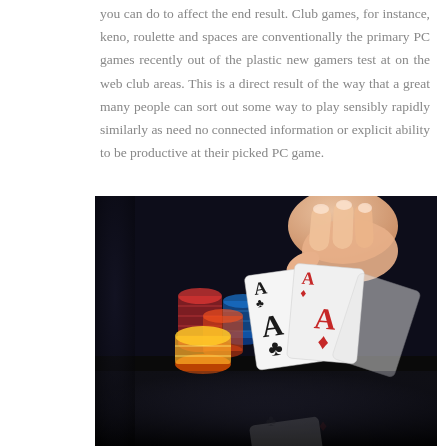you can do to affect the end result. Club games, for instance, keno, roulette and spaces are conventionally the primary PC games recently out of the plastic new gamers test at on the web club areas. This is a direct result of the way that a great many people can sort out some way to play sensibly rapidly similarly as need no connected information or explicit ability to be productive at their picked PC game.
[Figure (photo): A hand holding two Ace playing cards (Ace of Clubs and Ace of Diamonds) above a poker table with stacks of red, blue, yellow, and orange casino chips in the background. The cards and chips are reflected on the dark table surface.]